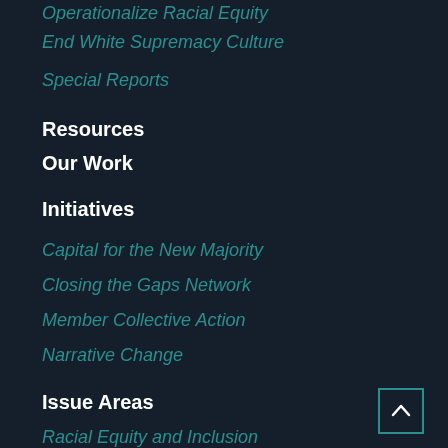Operationalize Racial Equity
End White Supremacy Culture
Special Reports
Resources
Our Work
Initiatives
Capital for the New Majority
Closing the Gaps Network
Member Collective Action
Narrative Change
Issue Areas
Racial Equity and Inclusion
Business Growth